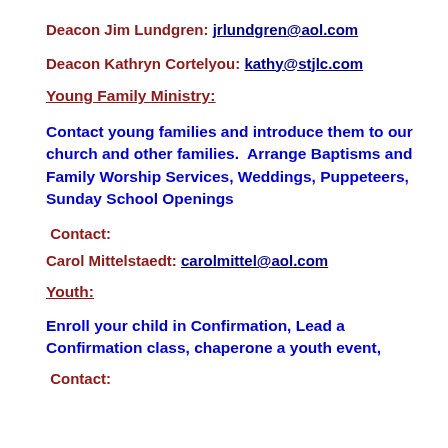Deacon Jim Lundgren: jrlundgren@aol.com
Deacon Kathryn Cortelyou: kathy@stjlc.com
Young Family Ministry:
Contact young families and introduce them to our church and other families.  Arrange Baptisms and Family Worship Services, Weddings, Puppeteers, Sunday School Openings
Contact:
Carol Mittelstaedt: carolmittel@aol.com
Youth:
Enroll your child in Confirmation, Lead a Confirmation class, chaperone a youth event,
Contact: